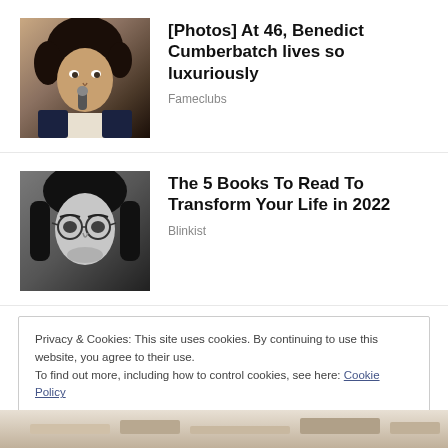[Figure (photo): Color photo of Benedict Cumberbatch speaking into a microphone, wearing a dark suit]
[Photos] At 46, Benedict Cumberbatch lives so luxuriously
Fameclubs
[Figure (photo): Black and white portrait photo of a young man with round glasses and long dark hair]
The 5 Books To Read To Transform Your Life in 2022
Blinkist
Privacy & Cookies: This site uses cookies. By continuing to use this website, you agree to their use.
To find out more, including how to control cookies, see here: Cookie Policy
CLOSE AND ACCEPT